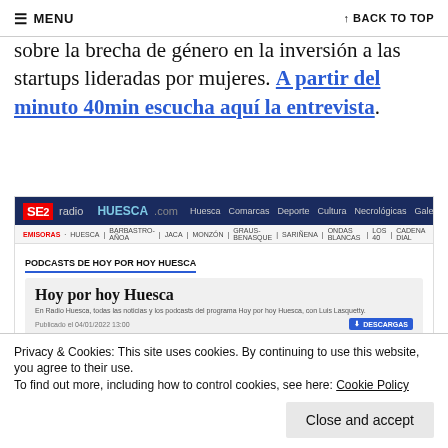≡ MENU   ↑ BACK TO TOP
sobre la brecha de género en la inversión a las startups lideradas por mujeres. A partir del minuto 40min escucha aquí la entrevista.
[Figure (screenshot): Screenshot of Radio HUESCA SER website showing 'PODCASTS DE HOY POR HOY HUESCA' section with a podcast card for 'Hoy por hoy Huesca']
Privacy & Cookies: This site uses cookies. By continuing to use this website, you agree to their use.
To find out more, including how to control cookies, see here: Cookie Policy
Close and accept